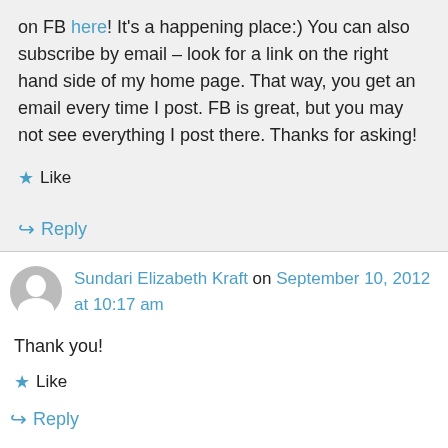on FB here! It's a happening place:) You can also subscribe by email – look for a link on the right hand side of my home page. That way, you get an email every time I post. FB is great, but you may not see everything I post there. Thanks for asking!
★ Like
↪ Reply
Sundari Elizabeth Kraft on September 10, 2012 at 10:17 am
Thank you!
★ Like
↪ Reply